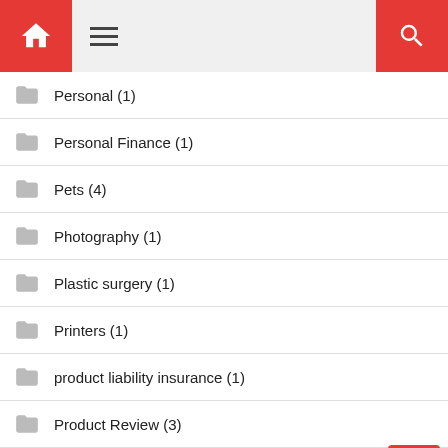Navigation header with home, menu, and search buttons
Personal (1)
Personal Finance (1)
Pets (4)
Photography (1)
Plastic surgery (1)
Printers (1)
product liability insurance (1)
Product Review (3)
Projectors (1)
Promotion (1)